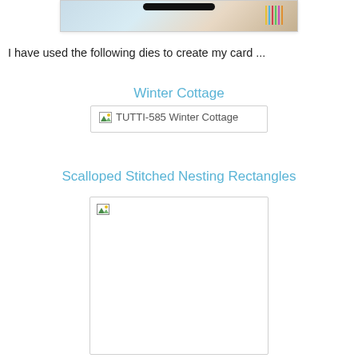[Figure (photo): Top portion of a handmade card with decorative elements including a dark circular element and colorful vertical lines on the right side, shown in a bordered frame]
I have used the following dies to create my card ...
Winter Cottage
[Figure (photo): Broken image placeholder showing 'TUTTI-585 Winter Cottage' text with a small broken image icon, in a bordered box]
Scalloped Stitched Nesting Rectangles
[Figure (photo): Broken image placeholder for Scalloped Stitched Nesting Rectangles product, shown in a large bordered box with small broken image icon in the top-left corner]